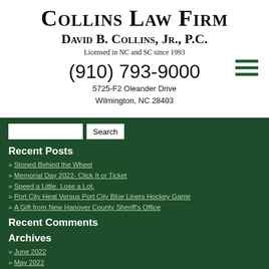Collins Law Firm
David B. Collins, Jr., P.C.
Licensed in NC and SC since 1993
(910) 793-9000
5725-F2 Oleander Drive
Wilmington, NC 28403
Recent Posts
Stoned Behind the Wheel
Memorial Day 2022- Click It or Ticket
Speed a Little.  Lose a Lot.
Port City Heat Versus Port City Blue Liners Hockey Game
A Gift from New Hanover County Sheriff's Office
Recent Comments
Archives
June 2022
May 2022
April 2022